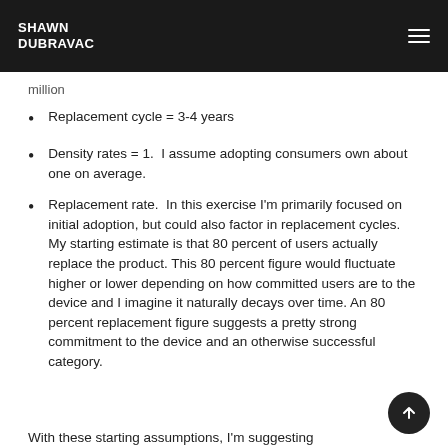SHAWN DUBRAVAC
million
Replacement cycle = 3-4 years
Density rates = 1.  I assume adopting consumers own about one on average.
Replacement rate.  In this exercise I'm primarily focused on initial adoption, but could also factor in replacement cycles. My starting estimate is that 80 percent of users actually replace the product. This 80 percent figure would fluctuate higher or lower depending on how committed users are to the device and I imagine it naturally decays over time. An 80 percent replacement figure suggests a pretty strong commitment to the device and an otherwise successful category.
With these starting assumptions, I'm suggesting